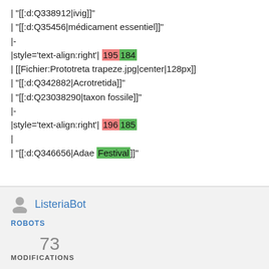| "[[:d:Q338912|ivig]]"
| "[[:d:Q35456|médicament essentiel]]"
|-
|style='text-align:right'| 195184
| [[Fichier:Prototreta trapeze.jpg|center|128px]]
| "[[:d:Q342882|Acrotretida]]"
| "[[:d:Q23038290|taxon fossile]]"
|-
|style='text-align:right'| 196185
|
| "[[:d:Q346656|Adae Festival]]"
ListeriaBot
ROBOTS
73
MODIFICATIONS